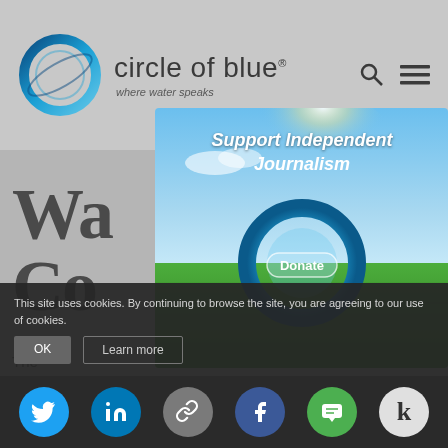circle of blue — where water speaks
[Figure (screenshot): Circle of Blue website screenshot showing logo, navigation, modal popup with 'Support Independent Journalism' donate button, cookie consent bar, and social sharing icons]
Wa... Co... s
The... water infrastructure and the consequences of failure, while st... parent are no t...
[Figure (illustration): Modal popup overlay with blue sky and green field background, Circle of Blue logo ring, text 'Support Independent Journalism' and 'Donate' button]
You have the power to inform
This site uses cookies. By continuing to browse the site, you are agreeing to our use of cookies.
OK
Learn more